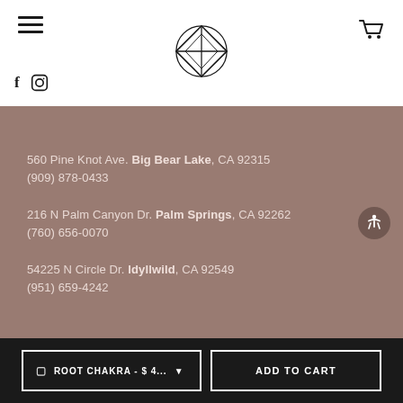[Figure (logo): Geometric diamond/crystal logo with octahedron outline in circle]
560 Pine Knot Ave. Big Bear Lake, CA 92315
(909) 878-0433
216 N Palm Canyon Dr. Palm Springs, CA 92262
(760) 656-0070
54225 N Circle Dr. Idyllwild, CA 92549
(951) 659-4242
ROOT CHAKRA - $ 4...   ADD TO CART